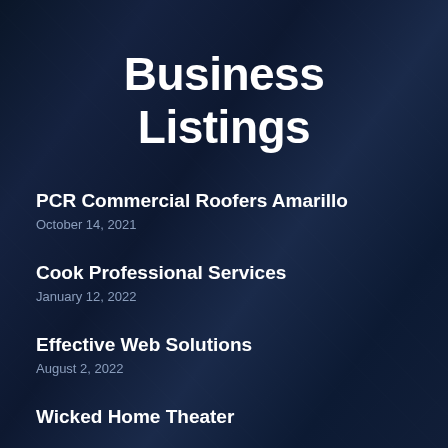Business Listings
PCR Commercial Roofers Amarillo
October 14, 2021
Cook Professional Services
January 12, 2022
Effective Web Solutions
August 2, 2022
Wicked Home Theater